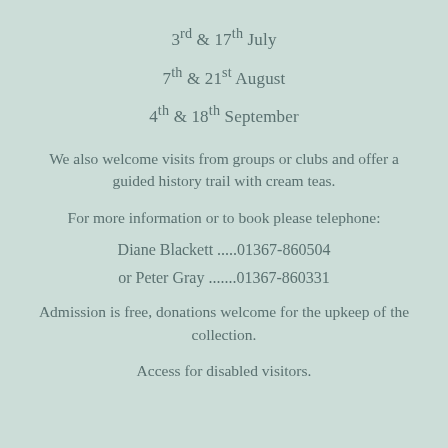3rd & 17th July
7th & 21st August
4th & 18th September
We also welcome visits from groups or clubs and offer a guided history trail with cream teas.
For more information or to book please telephone:
Diane Blackett .....01367-860504
or Peter Gray .......01367-860331
Admission is free, donations welcome for the upkeep of the collection.
Access for disabled visitors.